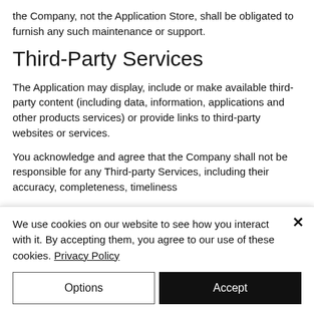the Company, not the Application Store, shall be obligated to furnish any such maintenance or support.
Third-Party Services
The Application may display, include or make available third-party content (including data, information, applications and other products services) or provide links to third-party websites or services.
You acknowledge and agree that the Company shall not be responsible for any Third-party Services, including their accuracy, completeness, timeliness
We use cookies on our website to see how you interact with it. By accepting them, you agree to our use of these cookies. Privacy Policy
Options
Accept